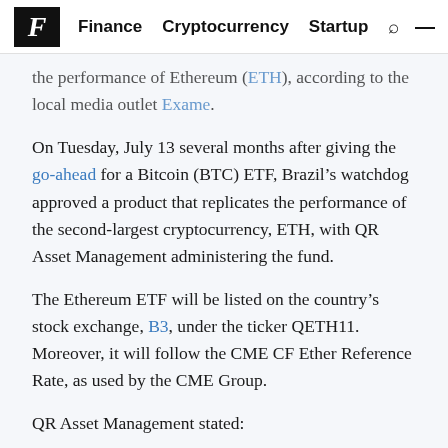F | Finance | Cryptocurrency | Startup
the performance of Ethereum (ETH), according to the local media outlet Exame.
On Tuesday, July 13 several months after giving the go-ahead for a Bitcoin (BTC) ETF, Brazil's watchdog approved a product that replicates the performance of the second-largest cryptocurrency, ETH, with QR Asset Management administering the fund.
The Ethereum ETF will be listed on the country's stock exchange, B3, under the ticker QETH11. Moreover, it will follow the CME CF Ether Reference Rate, as used by the CME Group.
QR Asset Management stated: